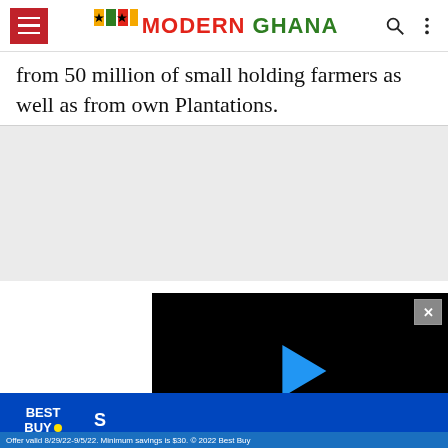Modern Ghana (navigation bar)
from 50 million of small holding farmers as well as from own Plantations.
[Figure (screenshot): Video player with black background, blue play button triangle, and X close button in top right corner]
[Figure (screenshot): Best Buy advertisement banner with blue background showing Best Buy logo]
Offer valid 8/29/22-9/5/22. Minimum savings is $30. © 2022 Best Buy